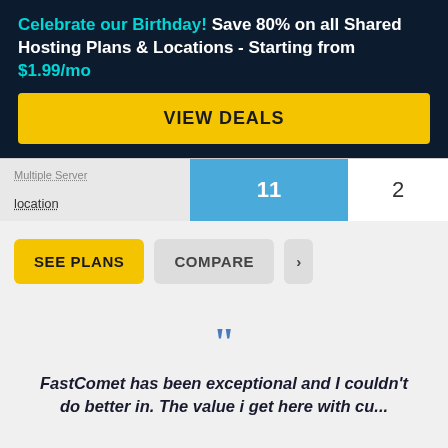Celebrate our Birthday! Save 80% on all Shared Hosting Plans & Locations - Starting from $1.99/mo
VIEW DEALS
| Multiple Server location | 11 | 2 |
| --- | --- | --- |
SEE PLANS
COMPARE
FastComet has been exceptional and I couldn't do better in. The value i get here with customer...